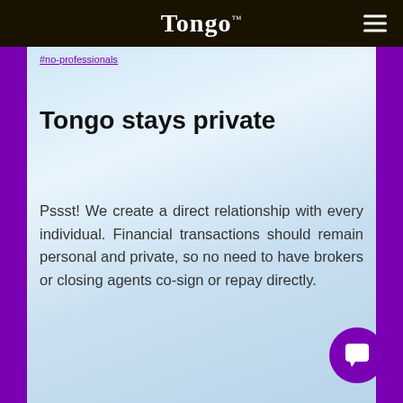Tongo™
Tongo stays private
Pssst! We create a direct relationship with every individual. Financial transactions should remain personal and private, so no need to have brokers or closing agents co-sign or repay directly.